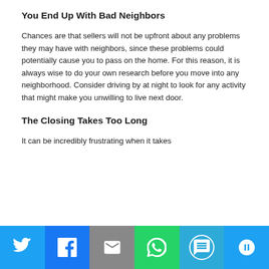You End Up With Bad Neighbors
Chances are that sellers will not be upfront about any problems they may have with neighbors, since these problems could potentially cause you to pass on the home. For this reason, it is always wise to do your own research before you move into any neighborhood. Consider driving by at night to look for any activity that might make you unwilling to live next door.
The Closing Takes Too Long
It can be incredibly frustrating when it takes